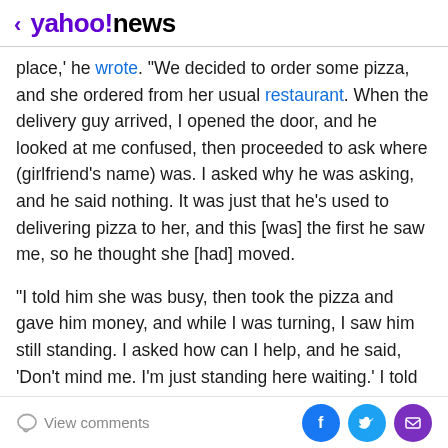< yahoo!news
place,' he wrote. 'We decided to order some pizza, and she ordered from her usual restaurant. When the delivery guy arrived, I opened the door, and he looked at me confused, then proceeded to ask where (girlfriend's name) was. I asked why he was asking, and he said nothing. It was just that he's used to delivering pizza to her, and this [was] the first he saw me, so he thought she [had] moved.
“I told him she was busy, then took the pizza and gave him money, and while I was turning, I saw him still standing. I asked how can I help, and he said, ‘Don’t mind me. I’m just standing here waiting.’ I told him he shouldn’t keep standing outside like that. He rudely said it wasn’t
View comments